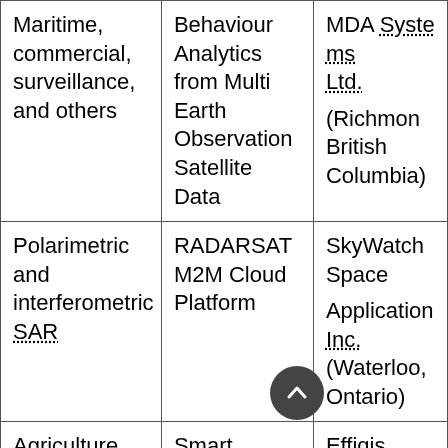| Maritime, commercial, surveillance, and others | Behaviour Analytics from Multi Earth Observation Satellite Data | MDA Systems Ltd. (Richmond, British Columbia) |
| Polarimetric and interferometric SAR | RADARSAT M2M Cloud Platform | SkyWatch Space Applications Inc. (Waterloo, Ontario) |
| Agriculture | Smart mapping of agricultural | Effigis Géo-Solutions (Montreal |